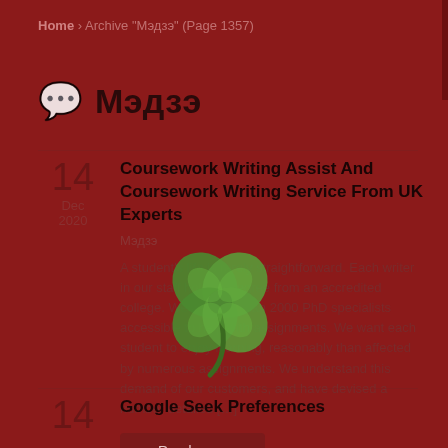Home › Archive "Мэдзэ" (Page 1357)
Мэдзэ
Coursework Writing Assist And Coursework Writing Service From UK Experts
Мэдзэ
A student's life is rarely straightforward. Each writer in our staff holds a degree from an accredited college. We've more than 2000 PhD specialists accessible to help with assignments. We want each student to enjoy learning, reasonably than affected by numerous assignments. We understand this demand of our customers, and have devised a number detailed […]
Read more
Google Seek Preferences
[Figure (illustration): Green four-leaf clover emoji overlaid on the article content area]